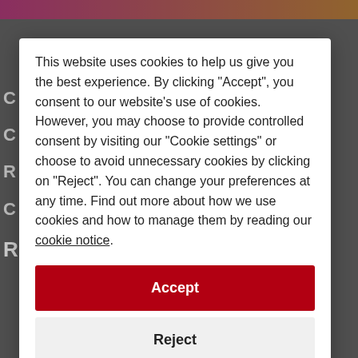[Figure (screenshot): Website screenshot with gradient header bar (pink to orange) and blurred background content behind a cookie consent modal overlay]
This website uses cookies to help us give you the best experience. By clicking "Accept", you consent to our website's use of cookies. However, you may choose to provide controlled consent by visiting our "Cookie settings" or choose to avoid unnecessary cookies by clicking on "Reject". You can change your preferences at any time. Find out more about how we use cookies and how to manage them by reading our cookie notice.
Accept
Reject
Cookie settings